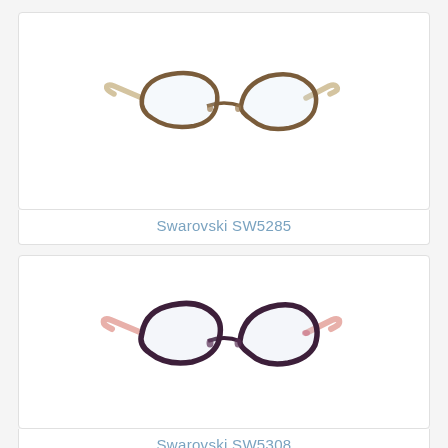[Figure (photo): Swarovski SW5285 eyeglasses frame – brown cat-eye style with beige/cream temples, shown on white background]
Swarovski SW5285
[Figure (photo): Swarovski SW5308 eyeglasses frame – dark purple/plum cat-eye style with pink/rose temples, shown on white background]
Swarovski SW5308